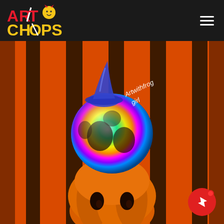[Figure (logo): ArtChops logo - colorful text with cartoon character face, red and yellow letters]
[Figure (illustration): Halloween themed digital artwork showing a rainbow-colored pumpkin with a blue witch hat sitting on top of an orange pumpkin with jack-o-lantern face. Background has orange and dark brown vertical stripes. White handwritten text reads 'Artwithfrog girl'.]
[Figure (other): Red circular chat/message button with white paper plane icon and red notification dot in corner]